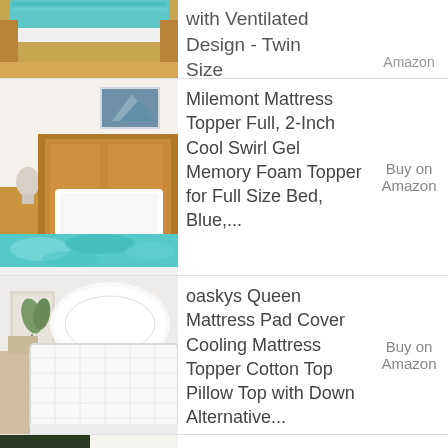[Figure (photo): Partial view of a mattress topper with teal/turquoise color on a wooden bed frame, cropped at top]
with Ventilated Design - Twin Size
Buy on Amazon
[Figure (photo): Milemont blue swirl gel memory foam mattress topper on a bed with wooden headboard, bedroom setting]
Milemont Mattress Topper Full, 2-Inch Cool Swirl Gel Memory Foam Topper for Full Size Bed, Blue,...
Buy on Amazon
[Figure (photo): oaskys white quilted mattress pad cover with pillow top, shown rolled/displayed against white background]
oaskys Queen Mattress Pad Cover Cooling Mattress Topper Cotton Top Pillow Top with Down Alternative...
Buy on Amazon
[Figure (photo): Partial bottom view of another product listing, dark green/nature background, cropped]